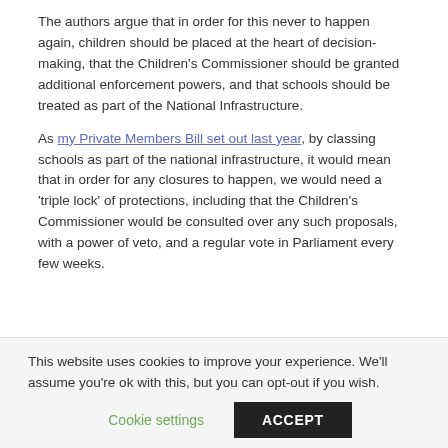The authors argue that in order for this never to happen again, children should be placed at the heart of decision-making, that the Children's Commissioner should be granted additional enforcement powers, and that schools should be treated as part of the National Infrastructure.
As my Private Members Bill set out last year, by classing schools as part of the national infrastructure, it would mean that in order for any closures to happen, we would need a 'triple lock' of protections, including that the Children's Commissioner would be consulted over any such proposals, with a power of veto, and a regular vote in Parliament every few weeks.
This website uses cookies to improve your experience. We'll assume you're ok with this, but you can opt-out if you wish.